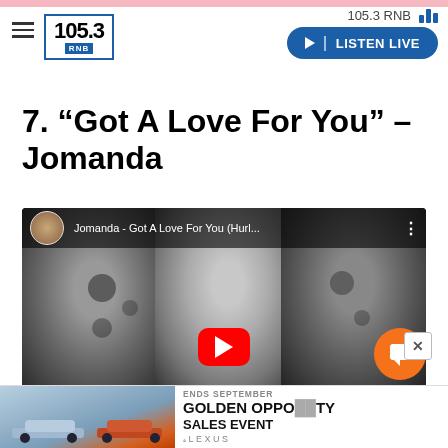105.3 RNB — LISTEN LIVE
7. “Got A Love For You” – Jomanda
[Figure (screenshot): YouTube video thumbnail showing Jomanda - Got A Love For You (Hurl... with three women in black and white, red YouTube play button, and a circular channel thumbnail.]
[Figure (other): Ad banner for Lexus Golden Opportunity Sales Event ending September, showing Lexus vehicles in blue/orange.]